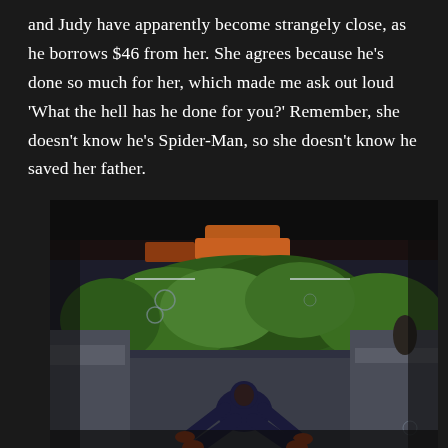and Judy have apparently become strangely close, as he borrows $46 from her. She agrees because he's done so much for her, which made me ask out loud 'What the hell has he done for you?' Remember, she doesn't know he's Spider-Man, so she doesn't know he saved her father.
[Figure (screenshot): A dark cinematic scene showing a figure in a spider-man suit crouching low on the ground in a fighting stance, with green hedges and an orange vehicle in the background, set in an urban environment.]